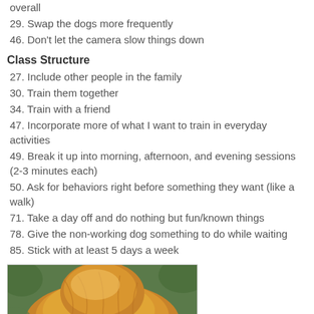overall
29. Swap the dogs more frequently
46. Don't let the camera slow things down
Class Structure
27. Include other people in the family
30. Train them together
34. Train with a friend
47. Incorporate more of what I want to train in everyday activities
49. Break it up into morning, afternoon, and evening sessions (2-3 minutes each)
50. Ask for behaviors right before something they want (like a walk)
71. Take a day off and do nothing but fun/known things
78. Give the non-working dog something to do while waiting
85. Stick with at least 5 days a week
[Figure (photo): A golden/brown dog photographed from above, with green foliage in the background]